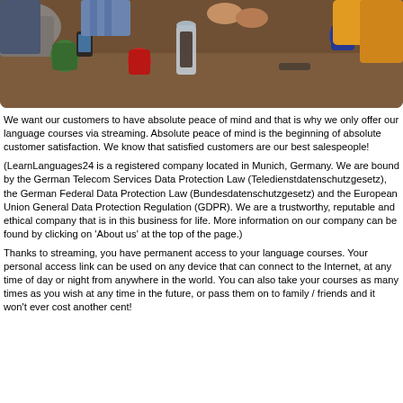[Figure (photo): Photo of people sitting around a wooden table with coffee/drinks, looking at phones and talking, viewed from above]
We want our customers to have absolute peace of mind and that is why we only offer our language courses via streaming. Absolute peace of mind is the beginning of absolute customer satisfaction. We know that satisfied customers are our best salespeople!
(LearnLanguages24 is a registered company located in Munich, Germany. We are bound by the German Telecom Services Data Protection Law (Teledienstdatenschutzgesetz), the German Federal Data Protection Law (Bundesdatenschutzgesetz) and the European Union General Data Protection Regulation (GDPR). We are a trustworthy, reputable and ethical company that is in this business for life. More information on our company can be found by clicking on 'About us' at the top of the page.)
Thanks to streaming, you have permanent access to your language courses. Your personal access link can be used on any device that can connect to the Internet, at any time of day or night from anywhere in the world. You can also take your courses as many times as you wish at any time in the future, or pass them on to family / friends and it won't ever cost another cent!